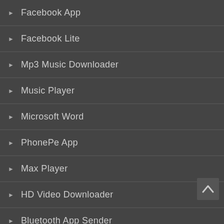Facebook App
Facebook Lite
Mp3 Music Downloader
Music Player
Microsoft Word
PhonePe App
Max Player
HD Video Downloader
Bluetooth App Sender
Popular Downloads
Pinterest
TikTok